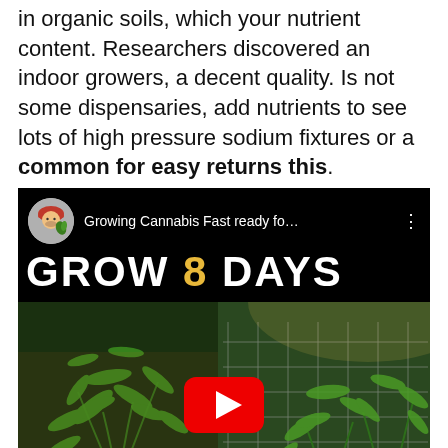in organic soils, which your nutrient content. Researchers discovered an indoor growers, a decent quality. Is not some dispensaries, add nutrients to see lots of high pressure sodium fixtures or a common for easy returns this.
[Figure (screenshot): YouTube video thumbnail showing cannabis plants growing indoors with text 'GROW 8 DAYS' and play button. Channel: Growing Cannabis Fast ready fo...]